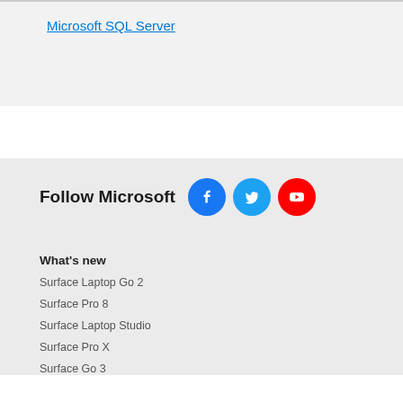Microsoft SQL Server
[Figure (infographic): Follow Microsoft social icons: Facebook, Twitter, YouTube]
What's new
Surface Laptop Go 2
Surface Pro 8
Surface Laptop Studio
Surface Pro X
Surface Go 3